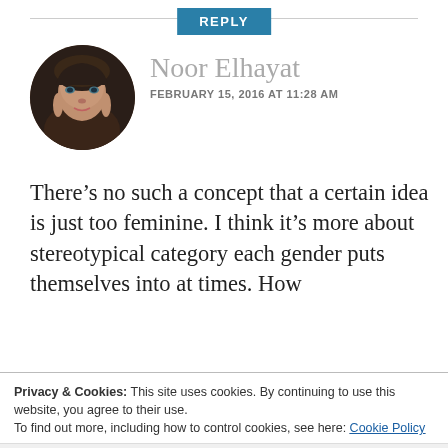REPLY
[Figure (photo): Circular profile photo of Noor Elhayat, a woman with dark wavy hair and blue/green eyes]
Noor Elhayat
FEBRUARY 15, 2016 AT 11:28 AM
There’s no such a concept that a certain idea is just too feminine. I think it’s more about stereotypical category each gender puts themselves into at times. How
Privacy & Cookies: This site uses cookies. By continuing to use this website, you agree to their use.
To find out more, including how to control cookies, see here: Cookie Policy
Close and accept
also from a country to another.